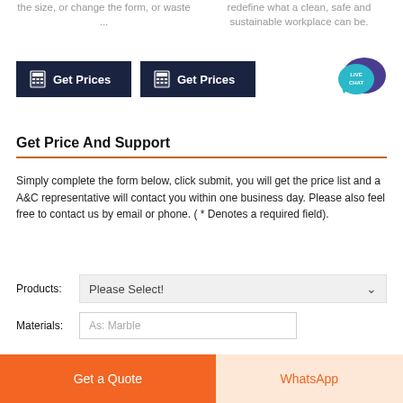the size, or change the form, or waste ...
redefine what a clean, safe and sustainable workplace can be.
[Figure (other): Two dark navy 'Get Prices' buttons with calculator icons, and a teal/purple Live Chat speech bubble icon]
Get Price And Support
Simply complete the form below, click submit, you will get the price list and a A&C representative will contact you within one business day. Please also feel free to contact us by email or phone. ( * Denotes a required field).
Products:  Please Select!
Materials:  As: Marble
Get a Quote
WhatsApp